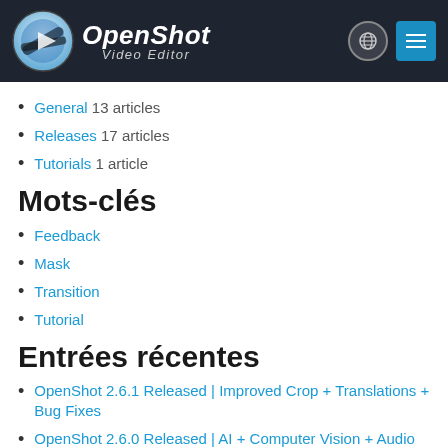OpenShot Video Editor
General 13 articles
Releases 17 articles
Tutorials 1 article
Mots-clés
Feedback
Mask
Transition
Tutorial
Entrées récentes
OpenShot 2.6.1 Released | Improved Crop + Translations + Bug Fixes
OpenShot 2.6.0 Released | AI + Computer Vision + Audio Effects